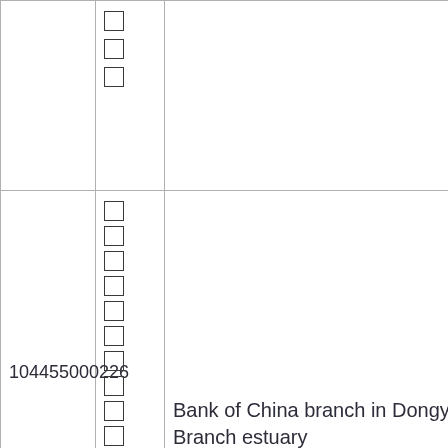|  | □
□
□ |  |
| 104455000226 | □
□
□
□
□
□
□
□
□
□
□
□
□
□ | Bank of China branch in Dongying Branch estuary |